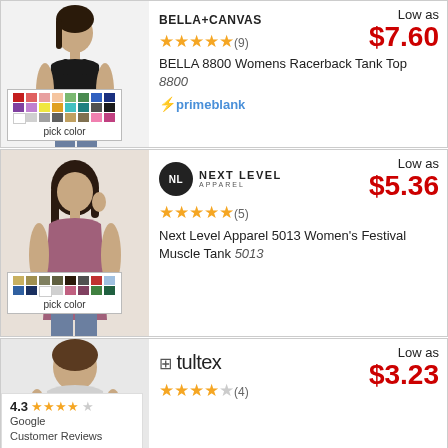[Figure (photo): Product listing card 1: Bella+Canvas 8800 Womens Racerback Tank Top, price $7.60, 5 stars (9 reviews)]
[Figure (photo): Product listing card 2: Next Level Apparel 5013 Women's Festival Muscle Tank, price $5.36, 5 stars (5 reviews)]
[Figure (photo): Product listing card 3 (partial): Tultex product, price $3.23, 4 stars (4 reviews), Google rating 4.3 overlay]